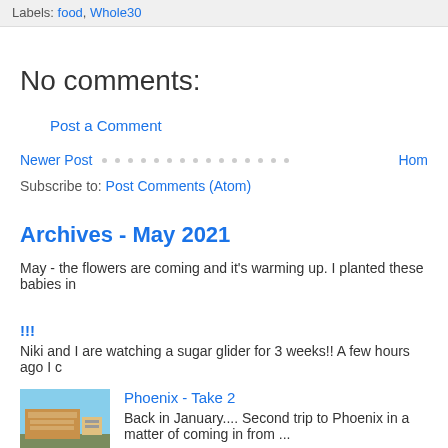Labels: food, Whole30
No comments:
Post a Comment
Newer Post · · · · · · · · · · · · · · · · Hom
Subscribe to: Post Comments (Atom)
Archives - May 2021
May - the flowers are coming and it's warming up. I planted these babies in
!!!
Niki and I are watching a sugar glider for 3 weeks!! A few hours ago I c
Phoenix - Take 2
[Figure (photo): Photo of a roadside sign, likely in Phoenix area, with blue sky background]
Back in January.... Second trip to Phoenix in a matter of coming in from ...